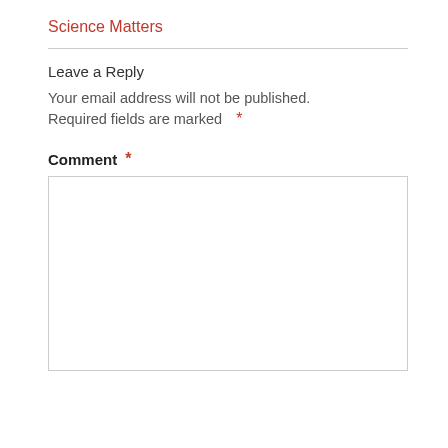Science Matters
Leave a Reply
Your email address will not be published.
Required fields are marked *
Comment *